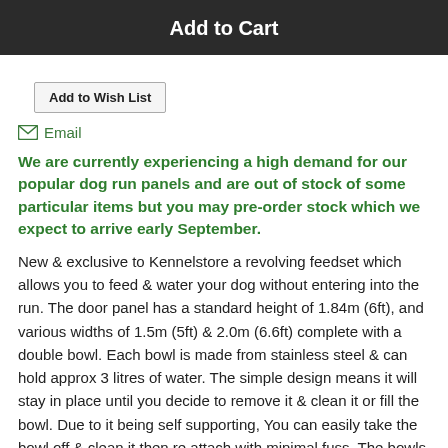Add to Cart
Add to Wish List
✉ Email
We are currently experiencing a high demand for our popular dog run panels and are out of stock of some particular items but you may pre-order stock which we expect to arrive early September.
New & exclusive to Kennelstore a revolving feedset which allows you to feed & water your dog without entering into the run. The door panel has a standard height of 1.84m (6ft), and various widths of 1.5m (5ft) & 2.0m (6.6ft) complete with a double bowl. Each bowl is made from stainless steel & can hold approx 3 litres of water. The simple design means it will stay in place until you decide to remove it & clean it or fill the bowl. Due to it being self supporting, You can easily take the bowl off & clean it then re attach with minimal fuss. The bowls can be fitted at any height to fit your dog's needs so it is